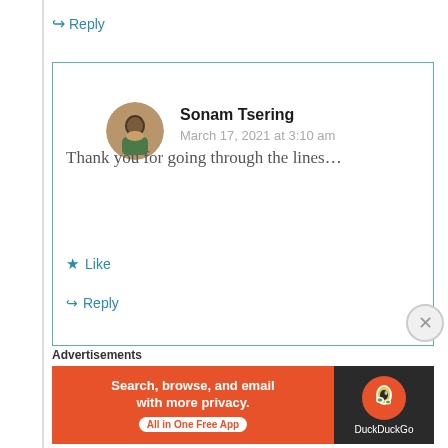↪ Reply
[Figure (screenshot): User comment box with teal border containing avatar and comment by Sonam Tsering]
Sonam Tsering
March 17, 2021 at 3:10 am
Thank you for going through the lines…
★ Like
↪ Reply
Advertisements
[Figure (screenshot): DuckDuckGo advertisement banner: Search, browse, and email with more privacy. All in One Free App.]